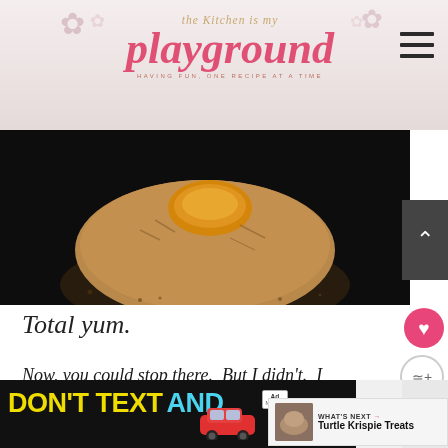[Figure (logo): The Kitchen is My Playground blog logo with script text and pink lettering]
[Figure (photo): Close-up food photo of a Rice Krispie treat ball with caramel center on dark background]
Total yum.
Now, you could stop there. But I didn't. I decided a little chocolate drizzle was to go.
[Figure (photo): What's Next widget thumbnail showing Turtle Krispie Treats]
[Figure (screenshot): Ad banner: DON'T TEXT AND drive safety advertisement from NHTSA]